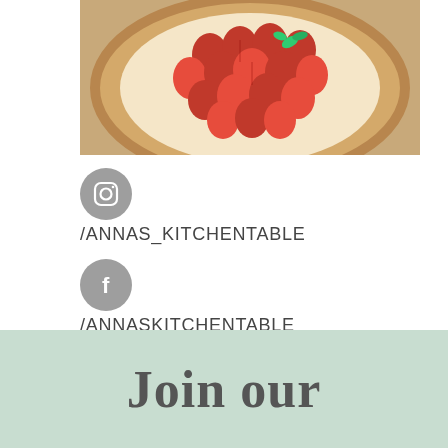[Figure (photo): Overhead photo of a strawberry tart with fresh strawberries and mint leaves arranged on a wooden board, partially cropped]
/ANNAS_KITCHENTABLE
/ANNASKITCHENTABLE
A.CHRISTOFOROU@LIVE.COM
Join our